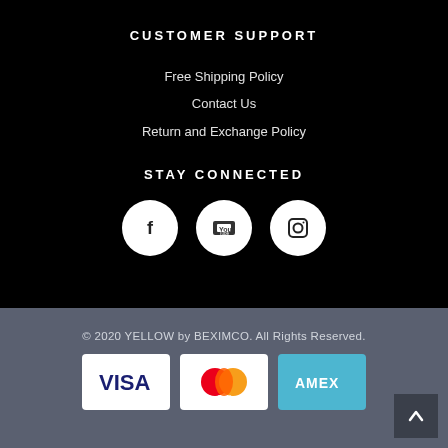CUSTOMER SUPPORT
Free Shipping Policy
Contact Us
Return and Exchange Policy
STAY CONNECTED
[Figure (infographic): Three white circular social media icons: Facebook (f), YouTube, and Instagram]
© 2020 YELLOW by BEXIMCO. All Rights Reserved.
[Figure (infographic): Three payment method logos: VISA, MasterCard, AMEX]